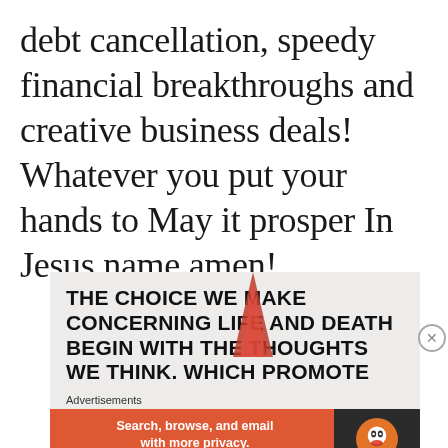debt cancellation, speedy financial breakthroughs and creative business deals! Whatever you put your hands to May it prosper In Jesus name amen!
[Figure (infographic): Advertisement block with bold text heading: 'THE CHOICE WE MAKE CONCERNING LIFE AND DEATH BEGIN WITH THE THOUGHTS WE THINK. WHICH PROMOTE' with a red flame/triangle graphic overlay, and a DuckDuckGo banner ad below with text 'Search, browse, and email with more privacy. All in One Free App']
Advertisements
Search, browse, and email with more privacy. All in One Free App